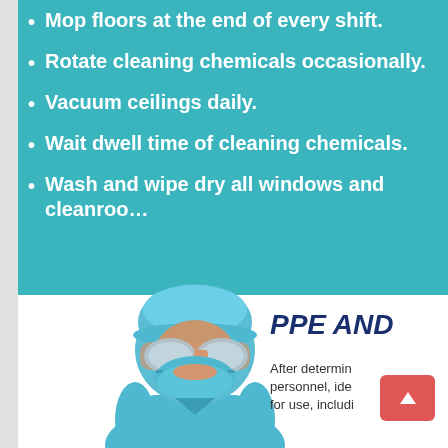Mop floors at the end of every shift.
Rotate cleaning chemicals occasionally.
Vacuum ceilings daily.
Wait dwell time of cleaning chemicals.
Wash and wipe dry all windows and cleanroo...
Source: angstromte...
[Figure (illustration): Illustration of a person in cleanroom PPE including blue cap, goggles, face mask, and blue scrubs]
PPE AND
After determin personnel, ide for use, includi